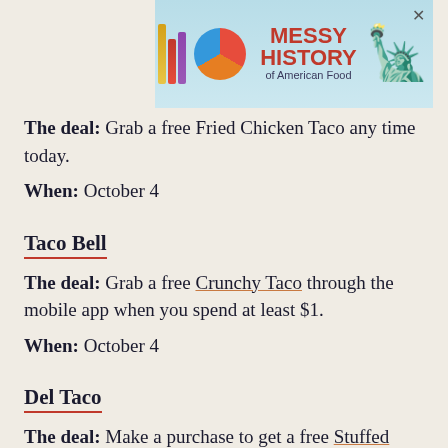[Figure (screenshot): Advertisement banner for 'Messy History of American Food' show with colorful logo bars, circle logo, and Statue of Liberty illustration]
The deal: Grab a free Fried Chicken Taco any time today.
When: October 4
Taco Bell
The deal: Grab a free Crunchy Taco through the mobile app when you spend at least $1.
When: October 4
Del Taco
The deal: Make a purchase to get a free Stuffed Quesadilla Taco.
When: October 4
El Pollo Loco
The deal: To celebrate the return of crunchy tacos